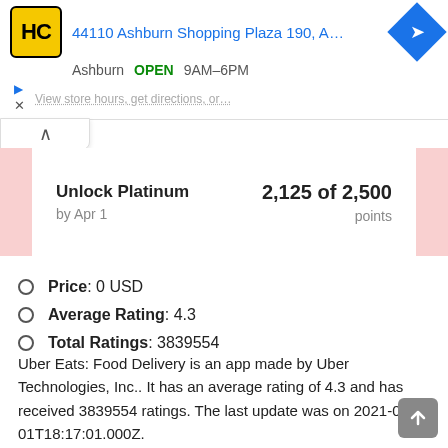[Figure (screenshot): Top banner showing HC logo, Ashburn OPEN 9AM-6PM, address 44110 Ashburn Shopping Plaza 190 A..., navigation diamond icon, ad arrows, and faded view store text]
Unlock Platinum   2,125 of 2,500
by Apr 1   points
Price: 0 USD
Average Rating: 4.3
Total Ratings: 3839554
Uber Eats: Food Delivery is an app made by Uber Technologies, Inc.. It has an average rating of 4.3 and has received 3839554 ratings. The last update was on 2021-06-01T18:17:01.000Z.